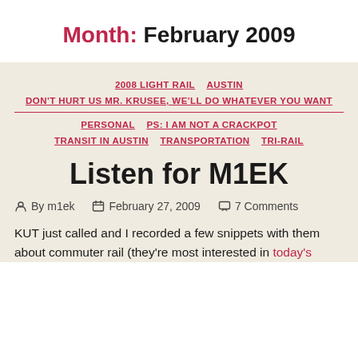Month: February 2009
2008 LIGHT RAIL   AUSTIN   DON'T HURT US MR. KRUSEE, WE'LL DO WHATEVER YOU WANT   PERSONAL   PS: I AM NOT A CRACKPOT   TRANSIT IN AUSTIN   TRANSPORTATION   TRI-RAIL
Listen for M1EK
By m1ek   February 27, 2009   7 Comments
KUT just called and I recorded a few snippets with them about commuter rail (they're most interested in today's